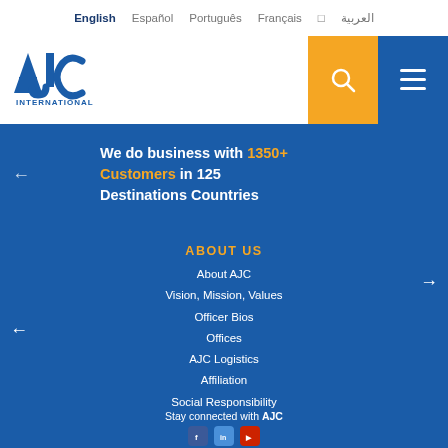English  Español  Português  Français  العربية
[Figure (logo): AJC International logo — bold blue AJC letters with 'INTERNATIONAL' below]
We do business with 1350+ Customers in 125 Destinations Countries
ABOUT US
About AJC
Vision, Mission, Values
Officer Bios
Offices
AJC Logistics
Affiliation
Social Responsibility
Stay connected with AJC